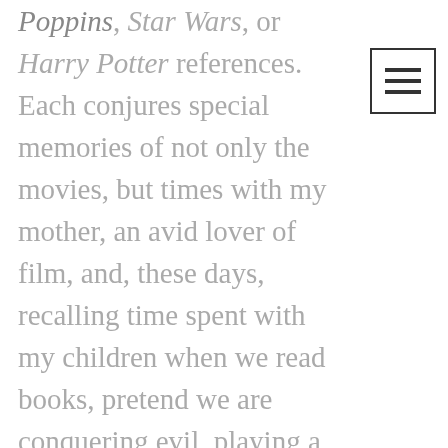Poppins, Star Wars, or Harry Potter references. Each conjures special memories of not only the movies, but times with my mother, an avid lover of film, and, these days, recalling time spent with my children when we read books, pretend we are conquering evil, playing a game, and watching movies together.
So I got an appointment near a tattoo parlor on the beach. The artist I ended up with was an creative guy, a college graduate and had been in grad school for animation. He was kind and even shared some of his spiritual journey with me as he worked.
I explained that I wanted to capture